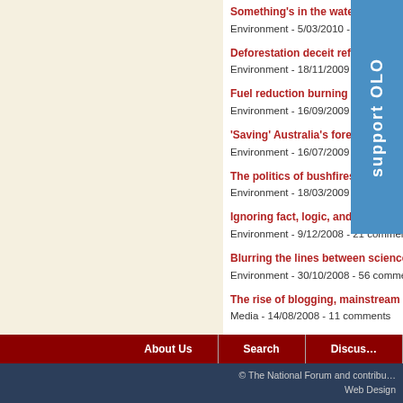Something's in the water at the ABC
Environment - 5/03/2010 - 53 comments
Deforestation deceit reflects badly on environmental...
Environment - 18/11/2009 - 16 comments
Fuel reduction burning - misunderstood and irratio...
Environment - 16/09/2009 - 23 comments
'Saving' Australia's forests for carbon - valid scienc...
Environment - 16/07/2009 - 23 comments
The politics of bushfires
Environment - 18/03/2009 - 14 comments
Ignoring fact, logic, and expertise
Environment - 9/12/2008 - 21 comments
Blurring the lines between science and political activism...
Environment - 30/10/2008 - 56 comments
The rise of blogging, mainstream media, and Victoria's riv...
Media - 14/08/2008 - 11 comments
Seeing wood, trees and forests
Environment - 21/12/2007 - 12 comments
All-year-round commitment the key to managing forest fir...
Environment - 5/02/2007 - 8 comments
Fired-up forests have more impact than the loggers
Environment - 30/11/2006 - 11 comments
Logging to save the planet
Environment - 27/10/2006 - 28 comments
About Us   Search   Discus...
© The National Forum and contribu... Web Design